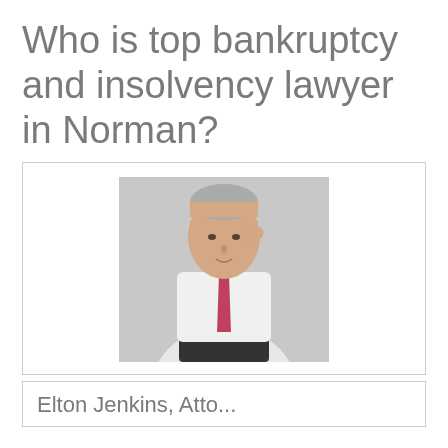Who is top bankruptcy and insolvency lawyer in Norman?
[Figure (photo): Professional portrait of a middle-aged man in a white dress shirt and red tie, resting his hand on his forehead, seated against a light gray background.]
Elton Jenkins, Attorney at ...